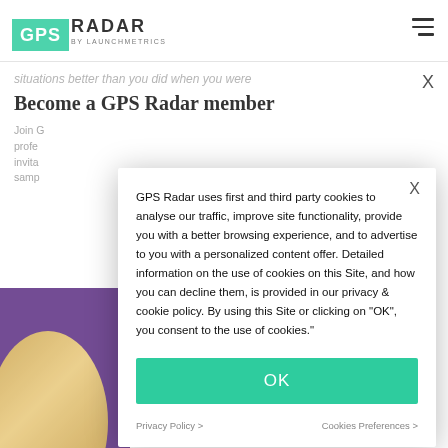[Figure (logo): GPS Radar by LaunchMetrics logo — GPS in green box, RADAR in bold letters, 'by LAUNCHMETRICS' underneath]
situations better than you did when you were
Become a GPS Radar member
Join G... profe... invita... samp...
GPS Radar uses first and third party cookies to analyse our traffic, improve site functionality, provide you with a better browsing experience, and to advertise to you with a personalized content offer. Detailed information on the use of cookies on this Site, and how you can decline them, is provided in our privacy & cookie policy. By using this Site or clicking on "OK", you consent to the use of cookies."
OK
Privacy Policy >
Cookies Preferences >